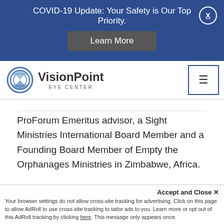COVID-19 Update: Your Safety is Our Top Priority.
Learn More
[Figure (logo): VisionPoint Eye Center logo with circular eye graphic]
ProForum Emeritus advisor, a Sight Ministries International Board Member and a Founding Board Member of Empty the Orphanages Ministries in Zimbabwe, Africa.
His postgraduate education has included advanced vision therapy and extensive training in ocular pharmacology for the treatment and management of
Accept and Close ×
Your browser settings do not allow cross-site tracking for advertising. Click on this page to allow AdRoll to use cross-site tracking to tailor ads to you. Learn more or opt out of this AdRoll tracking by clicking here. This message only appears once.